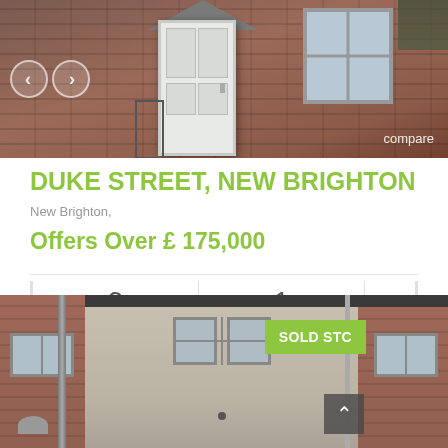[Figure (photo): Exterior photo of a red brick terraced house showing the front door area with white UPVC door and navigation arrows]
DUKE STREET, NEW BRIGHTON
New Brighton,
Offers Over £ 175,000
3 bedrooms | 1 baths
[Figure (photo): Exterior photo of a pale rendered terraced house with red brick neighbours, showing a SOLD STC badge in green]